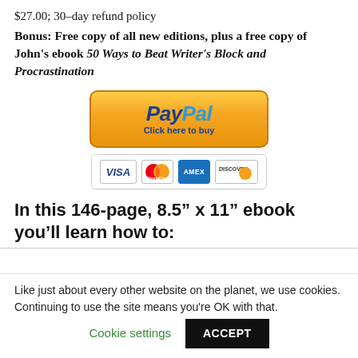$27.00; 30-day refund policy
Bonus: Free copy of all new editions, plus a free copy of John’s ebook 50 Ways to Beat Writer’s Block and Procrastination
[Figure (other): PayPal button with orange gradient background saying 'PayPal Click here to buy', below it are credit card logos: VISA, MasterCard, AMEX, DISCOVER]
In this 146-page, 8.5” x 11” ebook you’ll learn how to:
Like just about every other website on the planet, we use cookies. Continuing to use the site means you're OK with that.
Cookie settings   ACCEPT